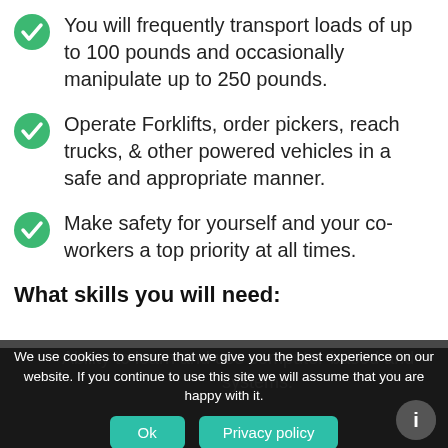You will frequently transport loads of up to 100 pounds and occasionally manipulate up to 250 pounds.
Operate Forklifts, order pickers, reach trucks, & other powered vehicles in a safe and appropriate manner.
Make safety for yourself and your co-workers a top priority at all times.
What skills you will need:
Ability to learn and use computer-based and ... systems.
We use cookies to ensure that we give you the best experience on our website. If you continue to use this site we will assume that you are happy with it.